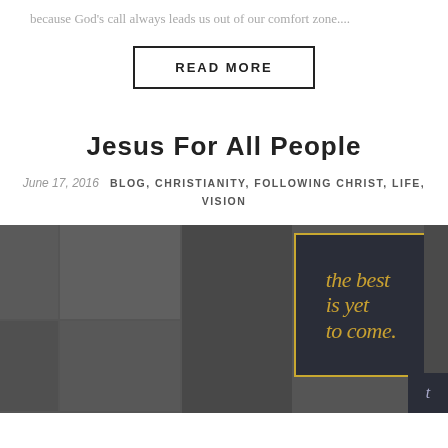because God's call always leads us out of our comfort zone....
READ MORE
Jesus For All People
June 17, 2016   BLOG, CHRISTIANITY, FOLLOWING CHRIST, LIFE, VISION
[Figure (photo): A dark collage of multiple photos showing people and a church environment, with a golden-bordered dark box on the right side containing gold handwritten-style text reading 'the best is yet to come']